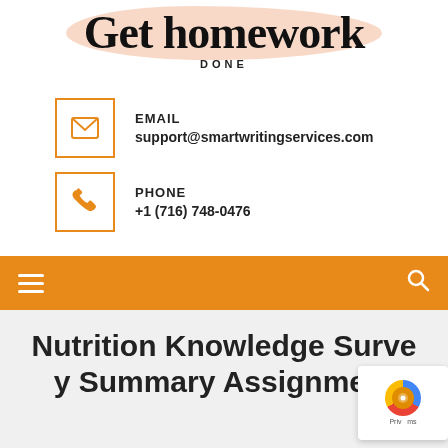[Figure (logo): Get homework DONE logo with script font on peach brush stroke background]
EMAIL
support@smartwritingservices.com
PHONE
+1 (716) 748-0476
Nutrition Knowledge Survey Summary Assignment